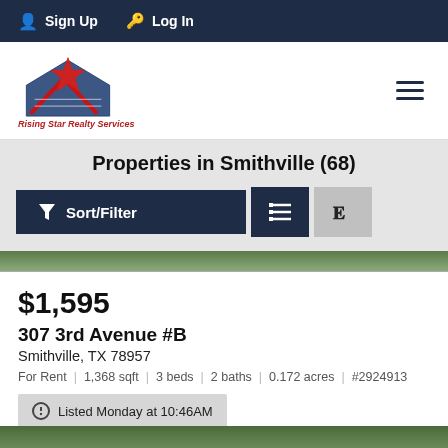Sign Up  Log In
[Figure (logo): Rising Star Realty Services logo with red star and blue house arrow graphic]
Properties in Smithville (68)
Sort/Filter | List view | Map view buttons
$1,595
307 3rd Avenue #B
Smithville, TX 78957
For Rent  |  1,368 sqft  |  3 beds  |  2 baths  |  0.172 acres  |  #2924913
Listed Monday at 10:46AM